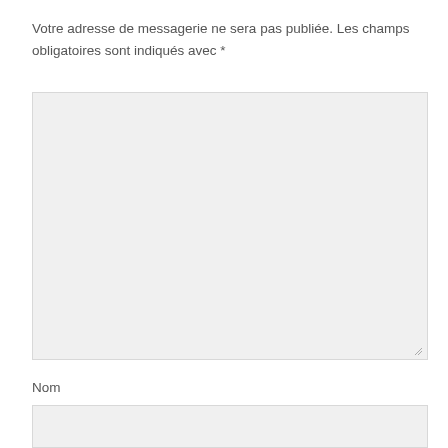Votre adresse de messagerie ne sera pas publiée. Les champs obligatoires sont indiqués avec *
[Figure (other): Large empty textarea input field with light gray background and resize handle in bottom-right corner]
Nom
[Figure (other): Single-line text input field with light gray background]